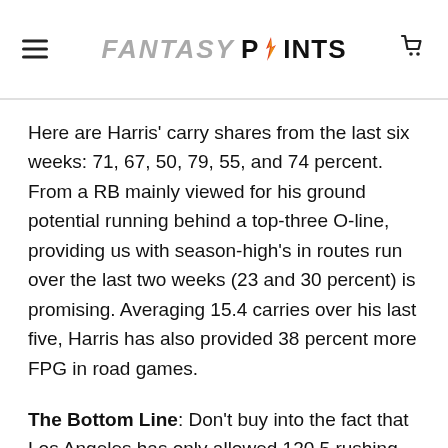FANTASY POINTS
Here are Harris' carry shares from the last six weeks: 71, 67, 50, 79, 55, and 74 percent. From a RB mainly viewed for his ground potential running behind a top-three O-line, providing us with season-high's in routes run over the last two weeks (23 and 30 percent) is promising. Averaging 15.4 carries over his last five, Harris has also provided 38 percent more FPG in road games.
The Bottom Line: Don't buy into the fact that Los Angeles has only allowed 120.5 rushing YPG this season (15th). They've supported the third-highest YPC (4.8), second-highest rate of 20-plus runs (percent) to opposing backfields. Opposing offenses